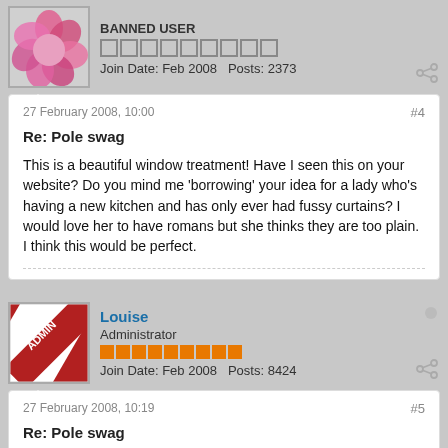BANNED USER
Join Date: Feb 2008   Posts: 2373
27 February 2008, 10:00
#4
Re: Pole swag
This is a beautiful window treatment! Have I seen this on your website? Do you mind me 'borrowing' your idea for a lady who's having a new kitchen and has only ever had fussy curtains? I would love her to have romans but she thinks they are too plain. I think this would be perfect.
Louise
Administrator
Join Date: Feb 2008   Posts: 8424
27 February 2008, 10:19
#5
Re: Pole swag
No problem Jules. Yes, its on my site but by all means print it off and